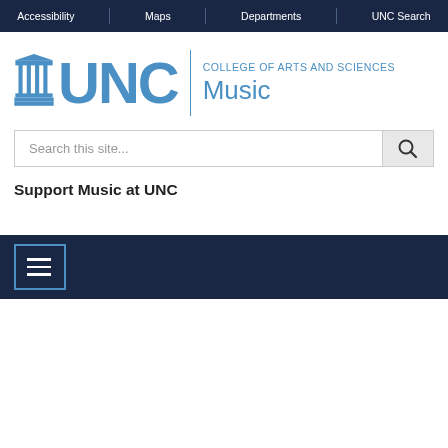Accessibility | Maps | Departments | UNC Search
[Figure (logo): UNC College of Arts and Sciences Music department logo with well icon, UNC letters, vertical divider, and college/department text]
Search this site...
Support Music at UNC
[Figure (other): Dark navy navigation bar with hamburger menu button (three horizontal lines) with blue border]